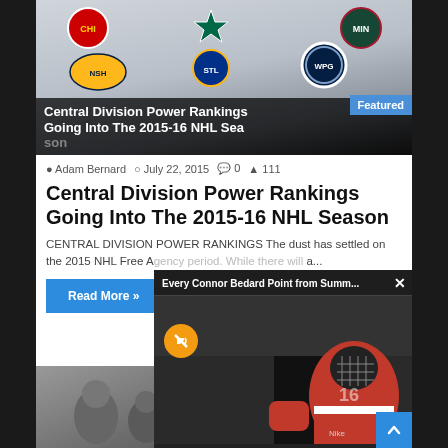[Figure (screenshot): Hero image showing NHL Central Division team logos on a textured gray background with article title overlay and Featured badge]
Adam Bernard  July 22, 2015  0  111
Central Division Power Rankings Going Into The 2015-16 NHL Season
CENTRAL DIVISION POWER RANKINGS The dust has settled on the 2015 NHL Free A... a...
Read More »
[Figure (screenshot): Video popup overlay showing 'Every Connor Bedard Point from Summ...' with a hockey player in red/white Canada jersey, score bar showing GOAL, mute button, and close X button]
[Figure (photo): Grayscale thumbnail image of people at a hockey arena, partially visible at bottom left]